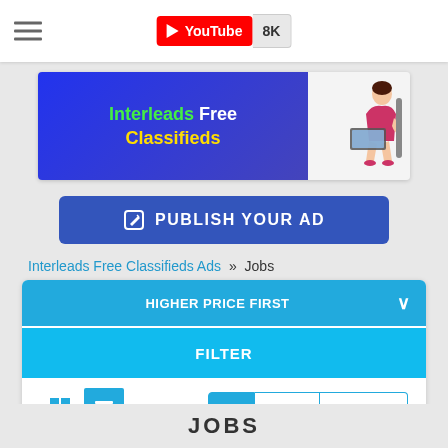[Figure (screenshot): YouTube subscribe button showing 8K subscribers]
[Figure (illustration): Hamburger menu icon with three horizontal lines]
[Figure (logo): Interleads Free Classifieds banner advertisement with woman sitting at laptop]
PUBLISH YOUR AD
Interleads Free Classifieds Ads » Jobs
HIGHER PRICE FIRST
FILTER
All  Users  Company
JOBS